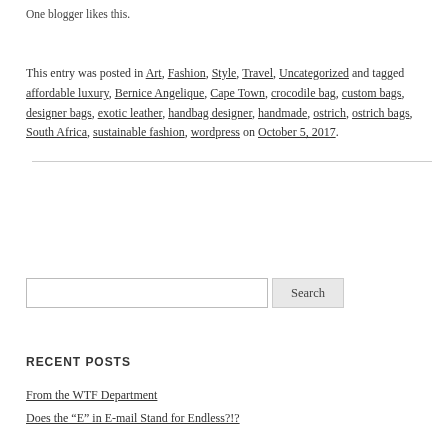One blogger likes this.
This entry was posted in Art, Fashion, Style, Travel, Uncategorized and tagged affordable luxury, Bernice Angelique, Cape Town, crocodile bag, custom bags, designer bags, exotic leather, handbag designer, handmade, ostrich, ostrich bags, South Africa, sustainable fashion, wordpress on October 5, 2017.
Search
RECENT POSTS
From the WTF Department
Does the “E” in E-mail Stand for Endless?!?